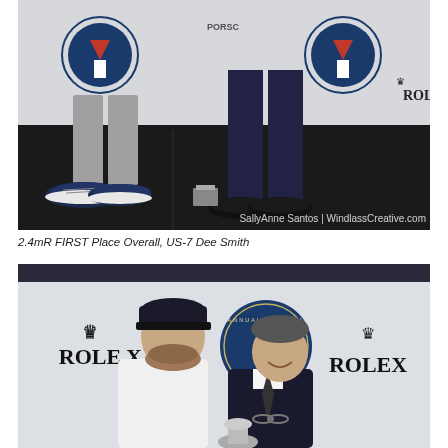[Figure (photo): Photo showing lower bodies/legs of two people standing on a dark floor in front of a sponsor backdrop with Rolex and sailing regatta logos. One person wears navy boat shoes, the other wears formal black dress shoes. Watermark reads 'SallyAnne Santos | WindlassCreative.com'.]
2.4mR FIRST Place Overall, US-7 Dee Smith
[Figure (photo): Photo of two men smiling at an awards ceremony in front of a sponsor backdrop displaying ROLEX logos and a sailing regatta annual regatta circular logo. The man on the left wears a dark cap and white shirt; the man on the right wears a dark suit and tie and holds glasses.]